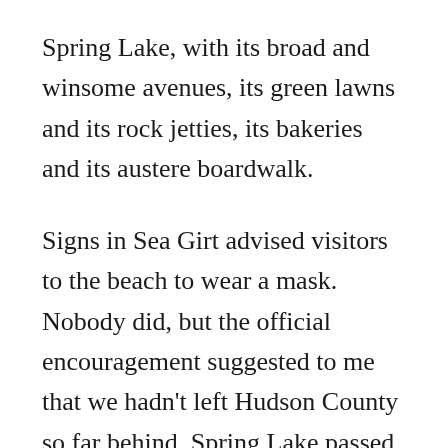Spring Lake, with its broad and winsome avenues, its green lawns and its rock jetties, its bakeries and its austere boardwalk.
Signs in Sea Girt advised visitors to the beach to wear a mask. Nobody did, but the official encouragement suggested to me that we hadn't left Hudson County so far behind. Spring Lake passed along no particular advice. I stayed masked all the way down to the surf, and even as we turned north and